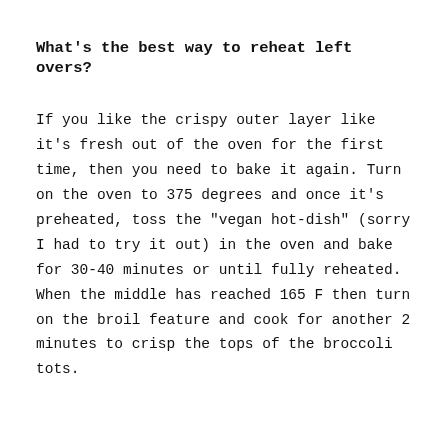What's the best way to reheat left overs?
If you like the crispy outer layer like it's fresh out of the oven for the first time, then you need to bake it again. Turn on the oven to 375 degrees and once it's preheated, toss the "vegan hot-dish" (sorry I had to try it out) in the oven and bake for 30-40 minutes or until fully reheated. When the middle has reached 165 F then turn on the broil feature and cook for another 2 minutes to crisp the tops of the broccoli tots.